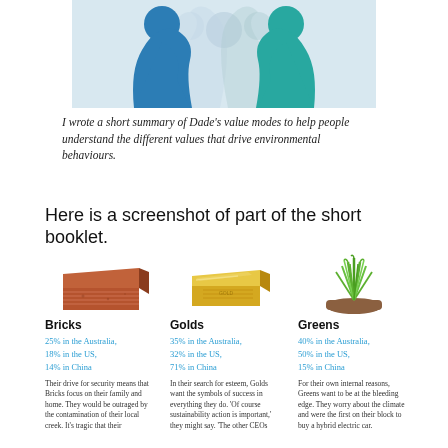[Figure (illustration): Two facing silhouettes — one blue facing right and one teal facing left — with lighter ghost silhouettes between them, suggesting dialogue or conversation about values.]
I wrote a short summary of Dade's value modes to help people understand the different values that drive environmental behaviours.
Here is a screenshot of part of the short booklet.
[Figure (illustration): A red/terracotta brick]
[Figure (illustration): A gold bar]
[Figure (illustration): A clump of green grass with soil]
Bricks
25% in the Australia, 18% in the US, 14% in China
Their drive for security means that Bricks focus on their family and home. They would be outraged by the contamination of their local creek. It's tragic that their
Golds
35% in the Australia, 32% in the US, 71% in China
In their search for esteem, Golds want the symbols of success in everything they do. 'Of course sustainability action is important,' they might say. 'The other CEOs
Greens
40% in the Australia, 50% in the US, 15% in China
For their own internal reasons, Greens want to be at the bleeding edge. They worry about the climate and were the first on their block to buy a hybrid electric car.